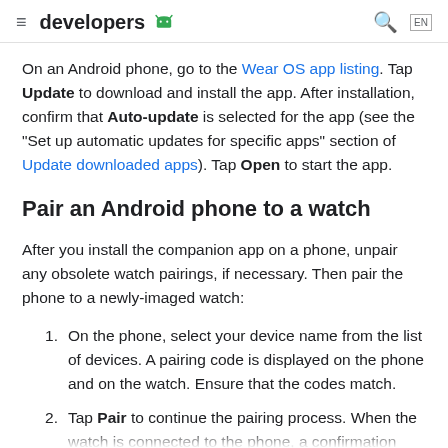≡ developers [android logo]
On an Android phone, go to the Wear OS app listing. Tap Update to download and install the app. After installation, confirm that Auto-update is selected for the app (see the "Set up automatic updates for specific apps" section of Update downloaded apps). Tap Open to start the app.
Pair an Android phone to a watch
After you install the companion app on a phone, unpair any obsolete watch pairings, if necessary. Then pair the phone to a newly-imaged watch:
On the phone, select your device name from the list of devices. A pairing code is displayed on the phone and on the watch. Ensure that the codes match.
Tap Pair to continue the pairing process. When the watch is connected to the phone, a confirmation